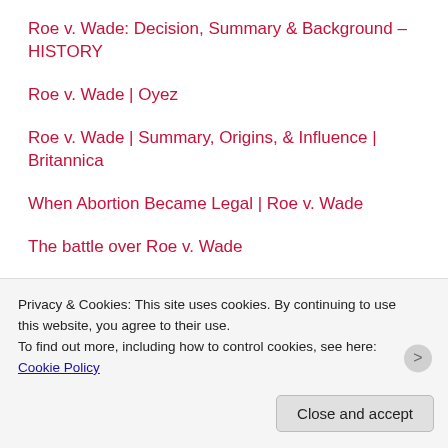Roe v. Wade: Decision, Summary & Background – HISTORY
Roe v. Wade | Oyez
Roe v. Wade | Summary, Origins, & Influence | Britannica
When Abortion Became Legal | Roe v. Wade
The battle over Roe v. Wade
What Abortion Was Like In The US Before Roe V.
Privacy & Cookies: This site uses cookies. By continuing to use this website, you agree to their use. To find out more, including how to control cookies, see here: Cookie Policy
Close and accept